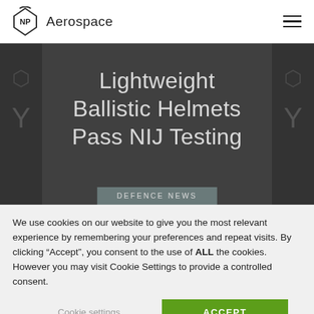NP Aerospace
[Figure (screenshot): NP Aerospace website hero banner with dark hexagonal pattern background showing the title 'Lightweight Ballistic Helmets Pass NIJ Testing' in light grey text on dark grey background, with a 'DEFENCE NEWS' tag button at the bottom]
We use cookies on our website to give you the most relevant experience by remembering your preferences and repeat visits. By clicking "Accept", you consent to the use of ALL the cookies. However you may visit Cookie Settings to provide a controlled consent.